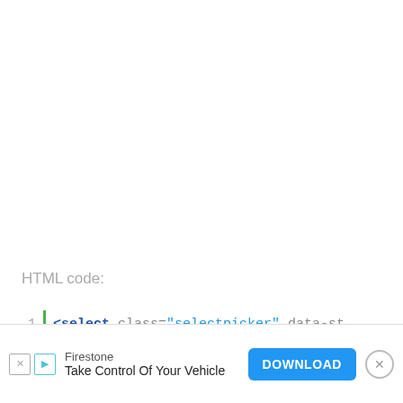HTML code:
[Figure (screenshot): Code editor snippet showing HTML select element with class='selectpicker' and data-st attribute, with line numbers 1-6 and a green vertical bar. Lines 1-3 visible with <select>, ..., </select>.]
[Figure (screenshot): Advertisement overlay: Firestone brand 'Take Control Of Your Vehicle' with a blue DOWNLOAD button and close button.]